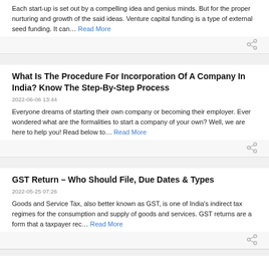Each start-up is set out by a compelling idea and genius minds. But for the proper nurturing and growth of the said ideas. Venture capital funding is a type of external seed funding. It can… Read More
What Is The Procedure For Incorporation Of A Company In India? Know The Step-By-Step Process
2022-06-06 13:44
Everyone dreams of starting their own company or becoming their employer. Ever wondered what are the formalities to start a company of your own? Well, we are here to help you! Read below to… Read More
GST Return – Who Should File, Due Dates & Types
2022-05-25 07:26
Goods and Service Tax, also better known as GST, is one of India's indirect tax regimes for the consumption and supply of goods and services. GST returns are a form that a taxpayer rec… Read More